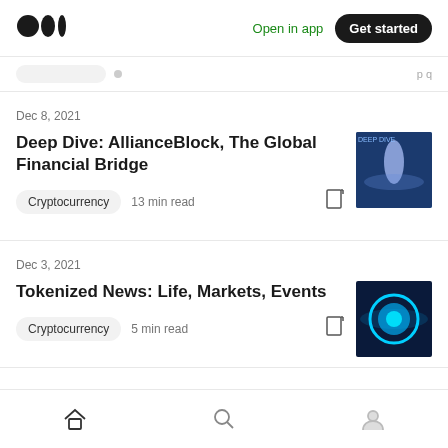Medium logo | Open in app | Get started
Dec 8, 2021
Deep Dive: AllianceBlock, The Global Financial Bridge
Cryptocurrency  13 min read
Dec 3, 2021
Tokenized News: Life, Markets, Events
Cryptocurrency  5 min read